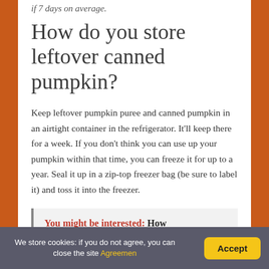if 7 days on average.
How do you store leftover canned pumpkin?
Keep leftover pumpkin puree and canned pumpkin in an airtight container in the refrigerator. It'll keep there for a week. If you don't think you can use up your pumpkin within that time, you can freeze it for up to a year. Seal it up in a zip-top freezer bag (be sure to label it) and toss it into the freezer.
You might be interested: How Long Can Pumpkin Seeds Sit
We store cookies: if you do not agree, you can close the site Agreemen  Accept